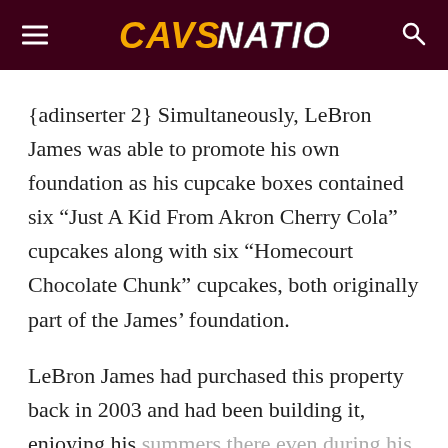CAVS NATION
{adinserter 2} Simultaneously, LeBron James was able to promote his own foundation as his cupcake boxes contained six “Just A Kid From Akron Cherry Cola” cupcakes along with six “Homecourt Chocolate Chunk” cupcakes, both originally part of the James’ foundation.
LeBron James had purchased this property back in 2003 and had been building it, enjoying his summers there even during his tenure with the Miami Heat in South Beach. His...